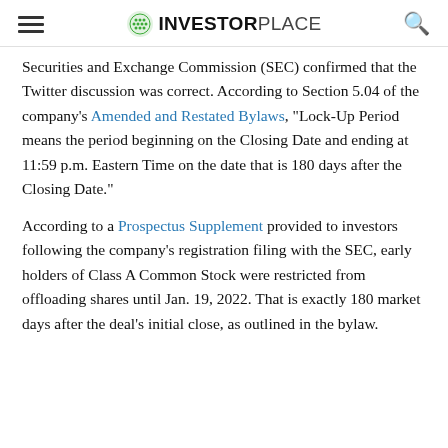INVESTORPLACE
Securities and Exchange Commission (SEC) confirmed that the Twitter discussion was correct. According to Section 5.04 of the company's Amended and Restated Bylaws, "Lock-Up Period means the period beginning on the Closing Date and ending at 11:59 p.m. Eastern Time on the date that is 180 days after the Closing Date."
According to a Prospectus Supplement provided to investors following the company's registration filing with the SEC, early holders of Class A Common Stock were restricted from offloading shares until Jan. 19, 2022. That is exactly 180 market days after the deal's initial close, as outlined in the bylaw.